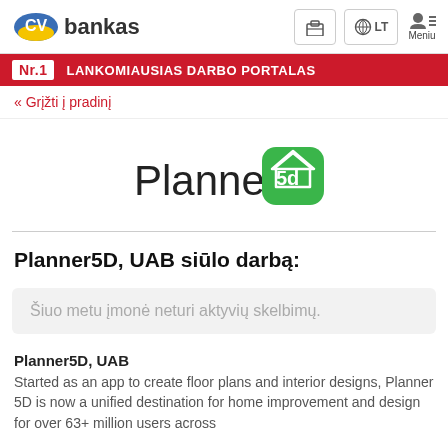CV bankas
Nr.1  LANKOMIAUSIAS DARBO PORTALAS
« Grįžti į pradinį
[Figure (logo): Planner 5D logo — text 'Planner' with green house icon containing '5d']
Planner5D, UAB siūlo darbą:
Šiuo metu įmonė neturi aktyvių skelbimų.
Planner5D, UAB
Started as an app to create floor plans and interior designs, Planner 5D is now a unified destination for home improvement and design for over 63+ million users across